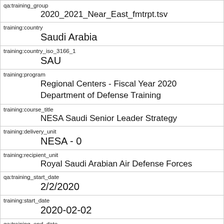| qa:training_group | 2020_2021_Near_East_fmtrpt.tsv |
| training:country | Saudi Arabia |
| training:country_iso_3166_1 | SAU |
| training:program | Regional Centers - Fiscal Year 2020 Department of Defense Training |
| training:course_title | NESA Saudi Senior Leader Strategy |
| training:delivery_unit | NESA - 0 |
| training:recipient_unit | Royal Saudi Arabian Air Defense Forces |
| qa:training_start_date | 2/2/2020 |
| training:start_date | 2020-02-02 |
| qa:training_end_date | 2/6/2020 |